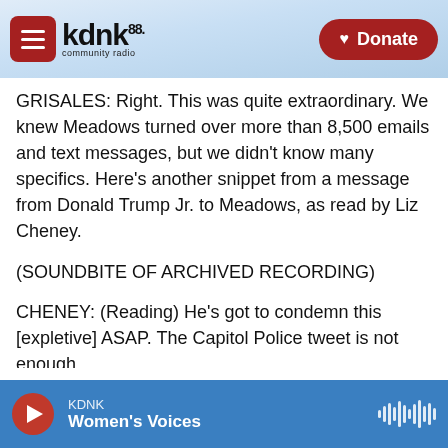[Figure (screenshot): KDNK 88.1 community radio website header with hamburger menu button, logo, mountain background, and red Donate button]
GRISALES: Right. This was quite extraordinary. We knew Meadows turned over more than 8,500 emails and text messages, but we didn't know many specifics. Here's another snippet from a message from Donald Trump Jr. to Meadows, as read by Liz Cheney.
(SOUNDBITE OF ARCHIVED RECORDING)
CHENEY: (Reading) He's got to condemn this [expletive] ASAP. The Capitol Police tweet is not enough.
GRISALES: She...
KDNK  Women's Voices